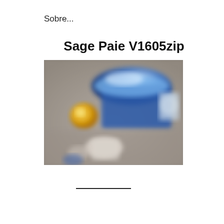Sobre...
Sage Paie V1605zip
[Figure (photo): A blurry close-up photograph showing objects on a surface, including what appears to be a blue container or box and a yellow round object, with a grey/beige background.]